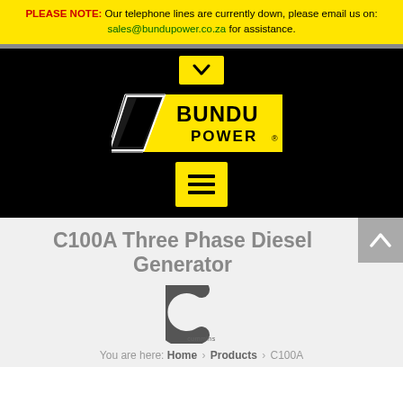PLEASE NOTE: Our telephone lines are currently down, please email us on: sales@bundupower.co.za for assistance.
[Figure (logo): Bundu Power logo — black parallelogram shape with yellow chevron background and bold black text 'BUNDU POWER' with registered trademark symbol]
C100A Three Phase Diesel Generator
[Figure (logo): Cummins logo — stylized grey 'C' shape with 'cummins' text in grey]
You are here: Home > Products > C100A